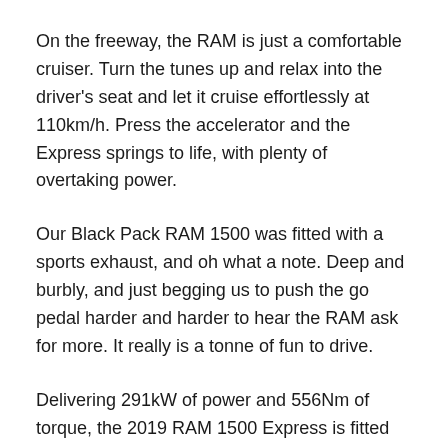On the freeway, the RAM is just a comfortable cruiser. Turn the tunes up and relax into the driver’s seat and let it cruise effortlessly at 110km/h. Press the accelerator and the Express springs to life, with plenty of overtaking power.
Our Black Pack RAM 1500 was fitted with a sports exhaust, and oh what a note. Deep and burbly, and just begging us to push the go pedal harder and harder to hear the RAM ask for more. It really is a tonne of fun to drive.
Delivering 291kW of power and 556Nm of torque, the 2019 RAM 1500 Express is fitted with a 121-litre fuel tank, and offers 4.5-tonne towing capacity. The only downside was that we didn’t have a cruise ship to tow around to test it out.
The other standout feature is the RAMBOX cargo management system, which provides deep compartments on